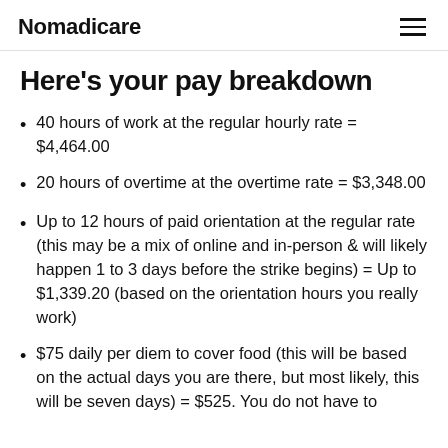Nomadicare
Here's your pay breakdown
40 hours of work at the regular hourly rate = $4,464.00
20 hours of overtime at the overtime rate = $3,348.00
Up to 12 hours of paid orientation at the regular rate (this may be a mix of online and in-person & will likely happen 1 to 3 days before the strike begins) = Up to $1,339.20 (based on the orientation hours you really work)
$75 daily per diem to cover food (this will be based on the actual days you are there, but most likely, this will be seven days) = $525. You do not have to